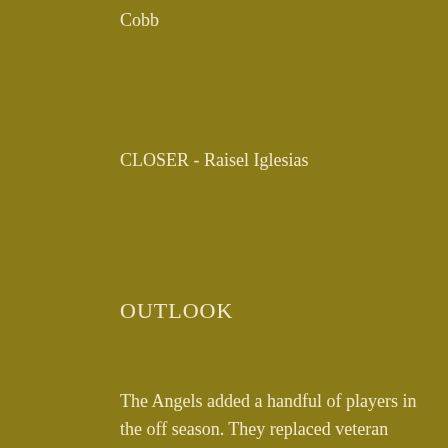Cobb
CLOSER - Raisel Iglesias
OUTLOOK
The Angels added a handful of players in the off season. They replaced veteran shortstop Andrelton Simmons with Jose Iglesias. Both are better than average defensive shortstops and might hit for decent average, neither is a difference maker that this team needs in their lineup every day. There is little help to be had for Mike Trout other than Anthony Rendon. Jared Walsh and David Fletcher. Those two perhaps have the most potential, with Walsh earning AL rookie of the month last September. He figures to add some power to the